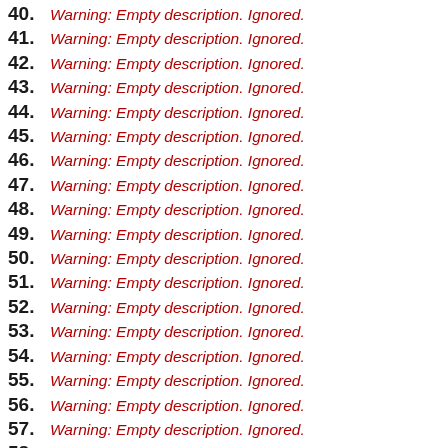40. Warning: Empty description. Ignored.
41. Warning: Empty description. Ignored.
42. Warning: Empty description. Ignored.
43. Warning: Empty description. Ignored.
44. Warning: Empty description. Ignored.
45. Warning: Empty description. Ignored.
46. Warning: Empty description. Ignored.
47. Warning: Empty description. Ignored.
48. Warning: Empty description. Ignored.
49. Warning: Empty description. Ignored.
50. Warning: Empty description. Ignored.
51. Warning: Empty description. Ignored.
52. Warning: Empty description. Ignored.
53. Warning: Empty description. Ignored.
54. Warning: Empty description. Ignored.
55. Warning: Empty description. Ignored.
56. Warning: Empty description. Ignored.
57. Warning: Empty description. Ignored.
58. Warning: Empty description. Ignored.
59. Warning: Empty description. Ignored.
60. Warning: Empty description. Ignored.